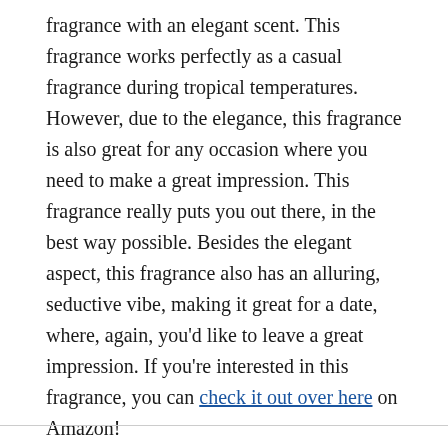fragrance with an elegant scent. This fragrance works perfectly as a casual fragrance during tropical temperatures. However, due to the elegance, this fragrance is also great for any occasion where you need to make a great impression. This fragrance really puts you out there, in the best way possible. Besides the elegant aspect, this fragrance also has an alluring, seductive vibe, making it great for a date, where, again, you'd like to leave a great impression. If you're interested in this fragrance, you can check it out over here on Amazon!